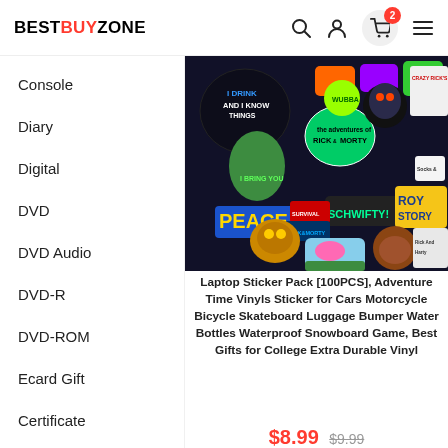BESTBUYZONE
Console
Diary
Digital
DVD
DVD Audio
DVD-R
DVD-ROM
Ecard Gift
Certificate
[Figure (photo): Colorful sticker pack collage featuring Rick and Morty themed stickers including characters, logos like 'ROY STORY', 'PEACE', 'SCHWIFTY!', 'Rick and Morty' text on various stickers]
Laptop Sticker Pack [100PCS], Adventure Time Vinyls Sticker for Cars Motorcycle Bicycle Skateboard Luggage Bumper Water Bottles Waterproof Snowboard Game, Best Gifts for College Extra Durable Vinyl
$8.99  $9.99